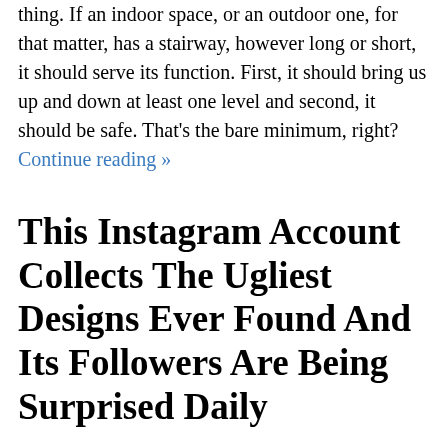thing. If an indoor space, or an outdoor one, for that matter, has a stairway, however long or short, it should serve its function. First, it should bring us up and down at least one level and second, it should be safe. That's the bare minimum, right? Continue reading »
This Instagram Account Collects The Ugliest Designs Ever Found And Its Followers Are Being Surprised Daily